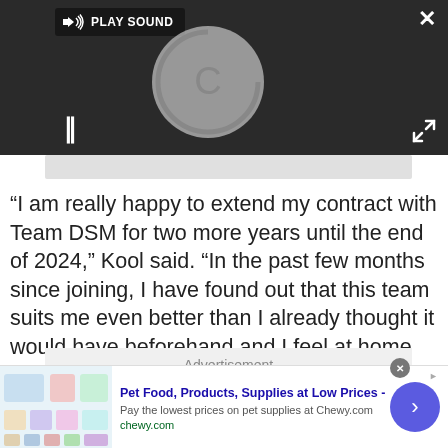[Figure (screenshot): Video player overlay with dark background showing a loading spinner, pause button, PLAY SOUND button, close X button, and expand button]
“I am really happy to extend my contract with Team DSM for two more years until the end of 2024,” Kool said. “In the past few months since joining, I have found out that this team suits me even better than I already thought it would have beforehand and I feel at home here.”
Advertisement
[Figure (screenshot): Advertisement banner for Chewy.com: Pet Food, Products, Supplies at Low Prices - Pay the lowest prices on pet supplies at Chewy.com]